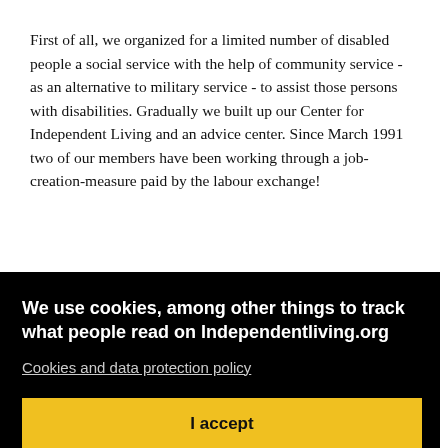First of all, we organized for a limited number of disabled people a social service with the help of community service - as an alternative to military service - to assist those persons with disabilities. Gradually we built up our Center for Independent Living and an advice center. Since March 1991 two of our members have been working through a job-creation-measure paid by the labour exchange!
Our obligations are:
[Figure (other): Cookie consent overlay with black background. Title: 'We use cookies, among other things to track what people read on Independentliving.org'. Link: 'Cookies and data protection policy'. Yellow 'I accept' button.]